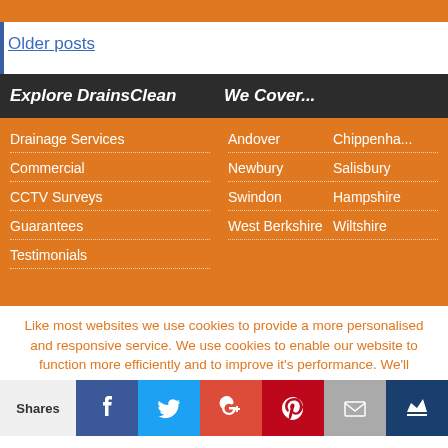Older posts
Explore DrainsClean
We Cover...
Drainage Services
Commercial
CCTV Surveys
Guarantees
Testimonials
Andover
Chippenha...
Newbury
Salisbury
Swindon
Hampshire
West Berkshire
Wiltshire
Like most websites we use cookies to provide a more personalised and responsive service. We use cookies to enable our website to function more efficiently and to improve it's performance. We'll assume you're ok with this, but you can opt-
Shares